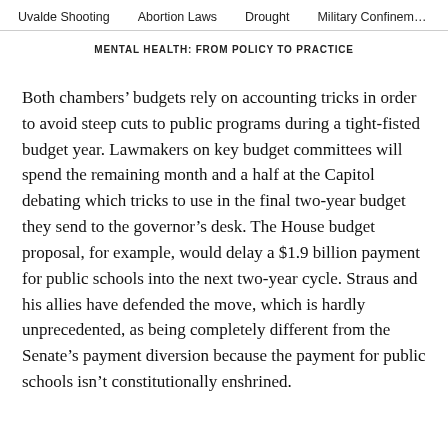Uvalde Shooting    Abortion Laws    Drought    Military Confinement
MENTAL HEALTH: FROM POLICY TO PRACTICE
Both chambers’ budgets rely on accounting tricks in order to avoid steep cuts to public programs during a tight-fisted budget year. Lawmakers on key budget committees will spend the remaining month and a half at the Capitol debating which tricks to use in the final two-year budget they send to the governor’s desk. The House budget proposal, for example, would delay a $1.9 billion payment for public schools into the next two-year cycle. Straus and his allies have defended the move, which is hardly unprecedented, as being completely different from the Senate’s payment diversion because the payment for public schools isn’t constitutionally enshrined.